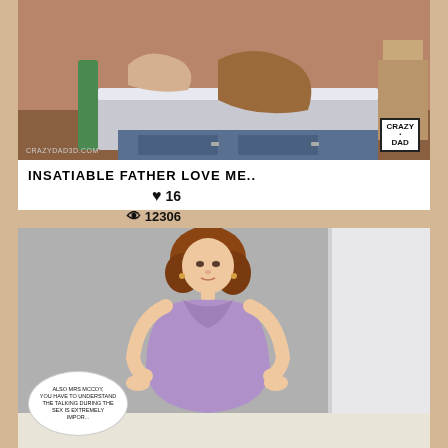[Figure (illustration): 3D rendered illustration showing figures on a bed in a bedroom setting, with watermark 'crazydad3d.com' and 'CRAZY DAD' logo box in bottom right corner]
INSATIABLE FATHER LOVE ME..
incest / sole male
♥ 16
👁 12306
10/05/2022
[Figure (illustration): 3D rendered illustration of a woman with auburn hair wearing a tight purple dress, speech bubble at bottom reading 'ALSO MRS MCCOY, YOU HAVE TO UNDERSTAND THE TALKING DURING THE SEX IS EXTREMELY...']